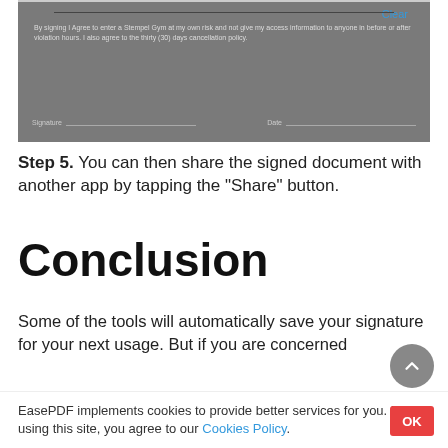[Figure (screenshot): Screenshot of a gym membership agreement document showing signature and date fields, with a 'Clear' button in the top right. The document has text: 'By signing I Agree to enter a Stempel Gym at my own risk and not give my access information to anyone in before or after violation hours. I also agree to the thirty (30) days cancellation policy.' Below are Signature and Date fields.]
Step 5. You can then share the signed document with another app by tapping the "Share" button.
Conclusion
Some of the tools will automatically save your signature for your next usage. But if you are concerned
EasePDF implements cookies to provide better services for you. By using this site, you agree to our Cookies Policy.